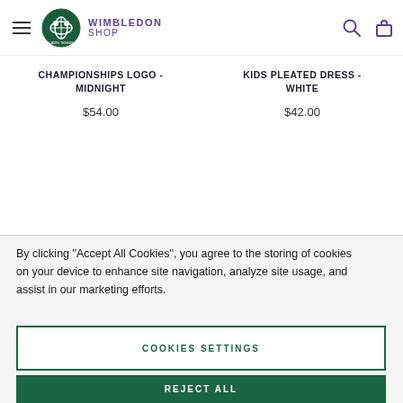Wimbledon Shop
CHAMPIONSHIPS LOGO - MIDNIGHT
$54.00
KIDS PLEATED DRESS - WHITE
$42.00
By clicking "Accept All Cookies", you agree to the storing of cookies on your device to enhance site navigation, analyze site usage, and assist in our marketing efforts.
COOKIES SETTINGS
REJECT ALL